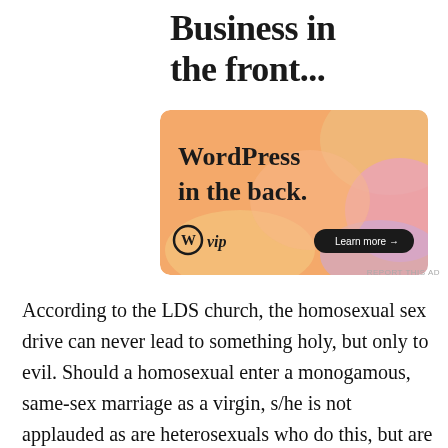Business in the front...
[Figure (advertisement): WordPress VIP advertisement banner with colorful gradient background (orange, peach, lavender). Text reads 'WordPress in the back.' with WordPress VIP logo on bottom left and 'Learn more →' button on bottom right.]
REPORT THIS AD
According to the LDS church, the homosexual sex drive can never lead to something holy, but only to evil. Should a homosexual enter a monogamous, same-sex marriage as a virgin, s/he is not applauded as are heterosexuals who do this, but are excommunicated and stripped of eternal blessings. At the same time,